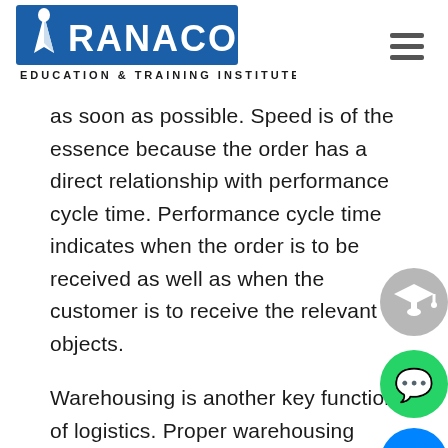[Figure (logo): RANACO Education & Training Institute logo — blue background with white pen-nib icon and white text RANACO, subtitle EDUCATION & TRAINING INSTITUTE in dark letters below]
as soon as possible. Speed is of the essence because the order has a direct relationship with performance cycle time. Performance cycle time indicates when the order is to be received as well as when the customer is to receive the relevant objects.
Warehousing is another key function of logistics. Proper warehousing procedures will ensure that warehouses are located strategically and in areas from where many